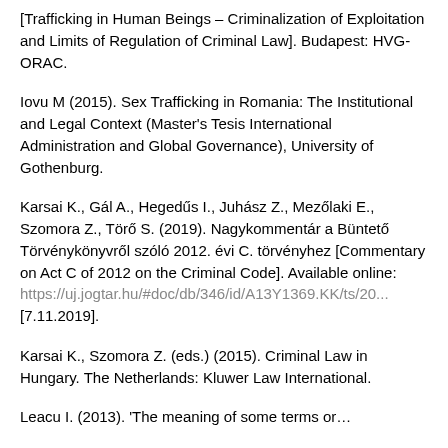[Trafficking in Human Beings – Criminalization of Exploitation and Limits of Regulation of Criminal Law]. Budapest: HVG-ORAC.
Iovu M (2015). Sex Trafficking in Romania: The Institutional and Legal Context (Master's Tesis International Administration and Global Governance), University of Gothenburg.
Karsai K., Gál A., Hegedűs I., Juhász Z., Mezőlaki E., Szomora Z., Törő S. (2019). Nagykommentár a Büntető Törvénykönyvről szóló 2012. évi C. törvényhez [Commentary on Act C of 2012 on the Criminal Code]. Available online: https://uj.jogtar.hu/#doc/db/346/id/A13Y1369.KK/ts/20... [7.11.2019].
Karsai K., Szomora Z. (eds.) (2015). Criminal Law in Hungary. The Netherlands: Kluwer Law International.
Leacu I. (2013). 'The meaning of some terms or…